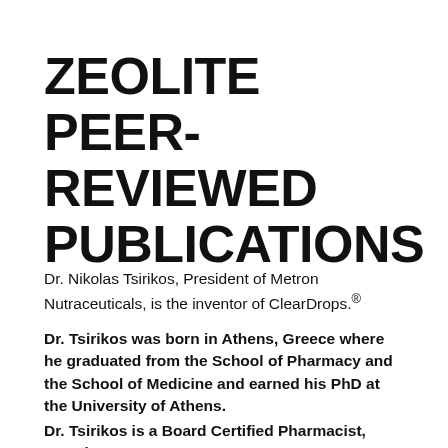ZEOLITE PEER-REVIEWED PUBLICATIONS
Dr. Nikolas Tsirikos, President of Metron Nutraceuticals, is the inventor of ClearDrops.®
Dr. Tsirikos was born in Athens, Greece where he graduated from the School of Pharmacy and the School of Medicine and earned his PhD at the University of Athens.
Dr. Tsirikos is a Board Certified Pharmacist, Board